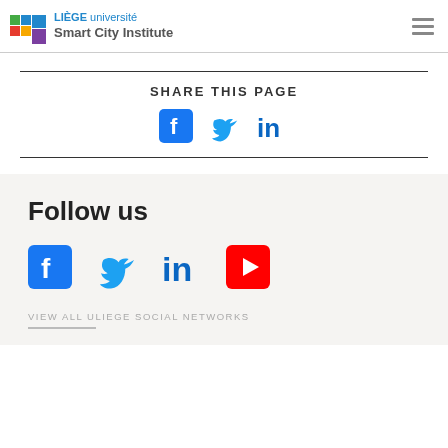LIÈGE université Smart City Institute
SHARE THIS PAGE
[Figure (infographic): Social share icons: Facebook, Twitter, LinkedIn]
Follow us
[Figure (infographic): Social media icons: Facebook, Twitter, LinkedIn, YouTube]
VIEW ALL ULIEGE SOCIAL NETWORKS